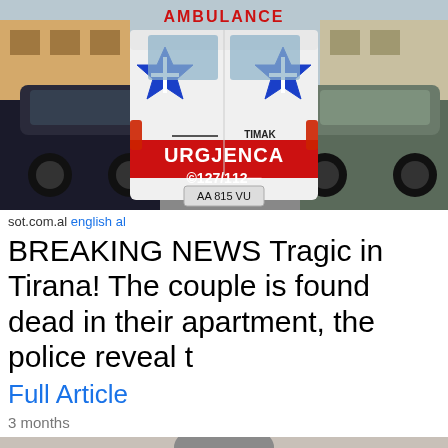[Figure (photo): Rear view of a white TIMAK ambulance vehicle labeled URGJENCA 127/112 with license plate AA 815 VU, parked on a street between other cars, with blue Star of Life emblems on the rear doors. Text on van reads AMBULANCE at top.]
sot.com.al english al
BREAKING NEWS Tragic in Tirana! The couple is found dead in their apartment, the police reveal t
Full Article
3 months
[Figure (photo): Partial photo of a person with gray hair and glasses, cropped showing only the top portion of the head and face.]